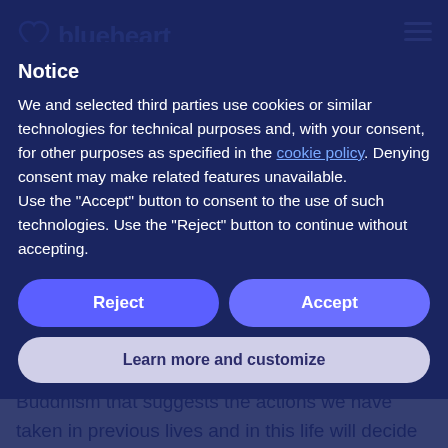Notice  blueheart
We and selected third parties use cookies or similar technologies for technical purposes and, with your consent, for other purposes as specified in the cookie policy. Denying consent may make related features unavailable.
Use the "Accept" button to consent to the use of such technologies. Use the "Reject" button to continue without accepting.
Reject    Accept
Learn more and customize
ripple effect that stretches out into the universe and impacts on everyone around you?
It's an idea borrowed from Hinduism and Buddhism that suggests the actions we have taken in previous lives and in this life will decide our future